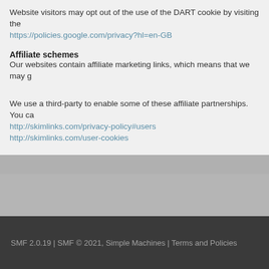Website visitors may opt out of the use of the DART cookie by visiting the https://policies.google.com/privacy?hl=en-GB
Affiliate schemes
Our websites contain affiliate marketing links, which means that we may g
We use a third-party to enable some of these affiliate partnerships. You ca http://skimlinks.com/privacy-policy#users http://skimlinks.com/user-cookies
SMF 2.0.19 | SMF © 2021, Simple Machines | Terms and Policies